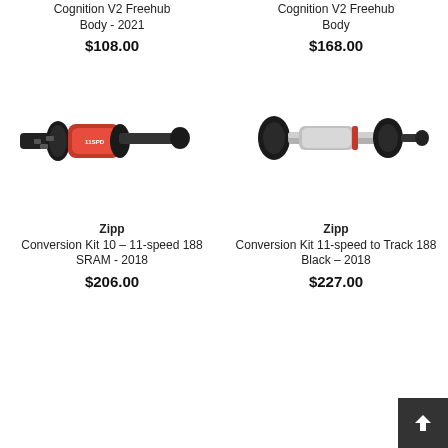Cognition V2 Freehub Body - 2021
$108.00
Cognition V2 Freehub Body
$168.00
[Figure (photo): Zipp Conversion Kit 10-11-speed 188 SRAM 2018 - red and black bicycle hub freehub body component]
[Figure (photo): Zipp Conversion Kit 11-speed to Track 188 Black 2018 - silver and black bicycle hub freehub body component]
Zipp Conversion Kit 10 – 11-speed 188 SRAM - 2018
$206.00
Zipp Conversion Kit 11-speed to Track 188 Black - 2018
$227.00